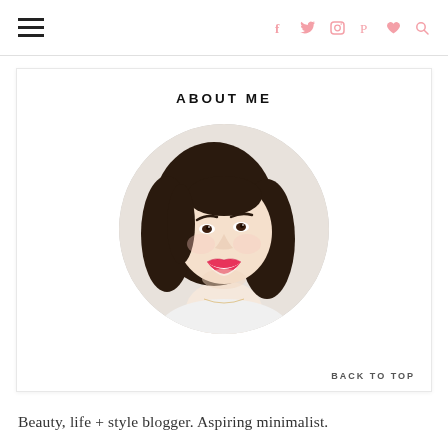☰  [social icons: facebook, twitter, instagram, pinterest, heart, search]
ABOUT ME
[Figure (photo): Circular cropped profile photo of a smiling young Asian woman with long dark hair and pink lipstick, against a light background.]
BACK TO TOP
Beauty, life + style blogger. Aspiring minimalist.